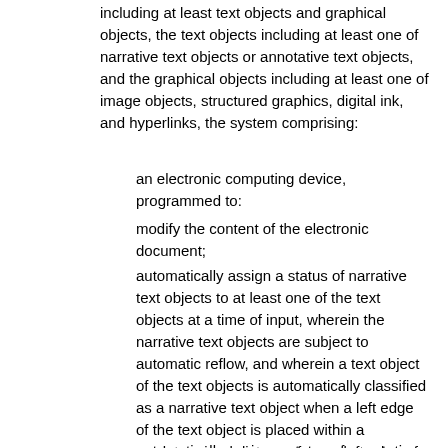including at least text objects and graphical objects, the text objects including at least one of narrative text objects or annotative text objects, and the graphical objects including at least one of image objects, structured graphics, digital ink, and hyperlinks, the system comprising:
an electronic computing device, programmed to:
modify the content of the electronic document;
automatically assign a status of narrative text objects to at least one of the text objects at a time of input, wherein the narrative text objects are subject to automatic reflow, and wherein a text object of the text objects is automatically classified as a narrative text object when a left edge of the text object is placed within a predetermined distance from a left edge of a canvas of the electronic display;
automatically assign a status of annotative text objects to at least one of the text objects at a time of input, wherein the annotative text objects remains in place relative to local coordinate systems, where the local coordinate systems of graphical objects can be translated with respect to a global system of the entire document, and wherein a text object of